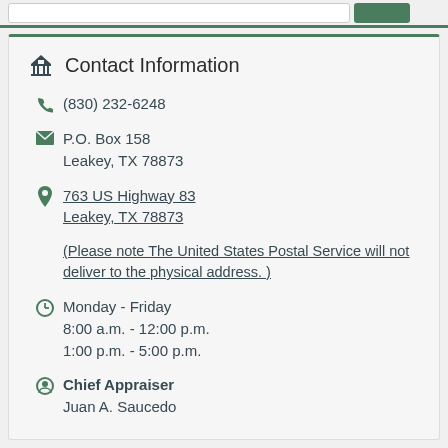Contact Information
(830) 232-6248
P.O. Box 158
Leakey, TX 78873
763 US Highway 83
Leakey, TX 78873
(Please note The United States Postal Service will not deliver to the physical address. )
Monday - Friday
8:00 a.m. - 12:00 p.m.
1:00 p.m. - 5:00 p.m.
Chief Appraiser
Juan A. Saucedo